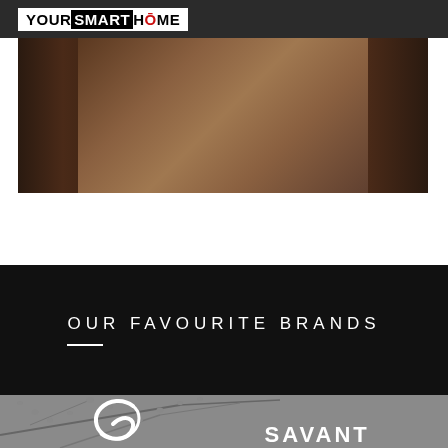YOUR SMART HOME
[Figure (photo): Dark curtain or fabric background photo, brownish tones]
OUR FAVOURITE BRANDS
[Figure (photo): Grayscale photo of branches with buds, overlaid with white Savant spiral logo and SAVANT text]